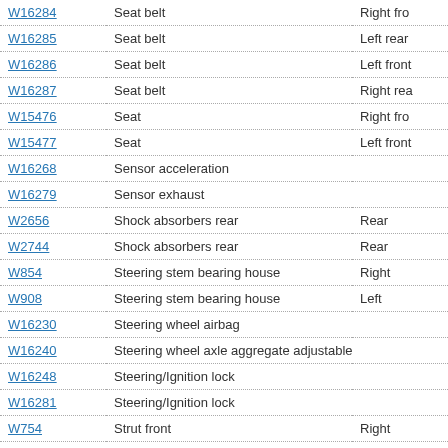| Code | Description | Location |
| --- | --- | --- |
| W16284 | Seat belt | Right fro... |
| W16285 | Seat belt | Left rear |
| W16286 | Seat belt | Left front |
| W16287 | Seat belt | Right rea... |
| W15476 | Seat | Right fro... |
| W15477 | Seat | Left front |
| W16268 | Sensor acceleration |  |
| W16279 | Sensor exhaust |  |
| W2656 | Shock absorbers rear | Rear |
| W2744 | Shock absorbers rear | Rear |
| W854 | Steering stem bearing house | Right |
| W908 | Steering stem bearing house | Left |
| W16230 | Steering wheel airbag |  |
| W16240 | Steering wheel axle aggregate adjustable |  |
| W16248 | Steering/Ignition lock |  |
| W16281 | Steering/Ignition lock |  |
| W754 | Strut front | Right |